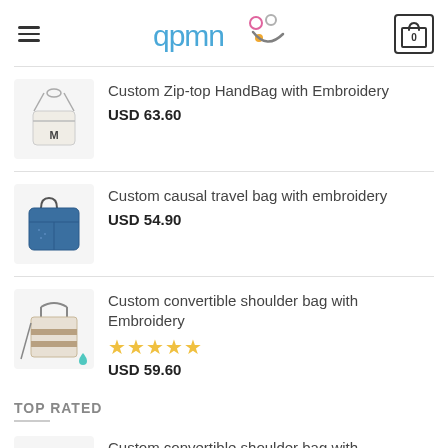qpmn [logo] — Cart: 0
[Figure (photo): Zip-top handbag with embroidery, small crossbody bag with initial M]
Custom Zip-top HandBag with Embroidery
USD 63.60
[Figure (photo): Blue denim casual travel tote bag]
Custom causal travel bag with embroidery
USD 54.90
[Figure (photo): Convertible shoulder bag with embroidery, beige and stripe bag with small aqua drop icon]
Custom convertible shoulder bag with Embroidery
★★★★★
USD 59.60
TOP RATED
[Figure (photo): Custom convertible shoulder bag with embroidery, beige and stripe bag]
Custom convertible shoulder bag with Embroidery